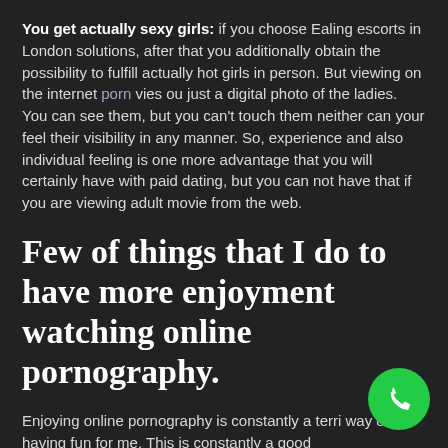You get actually sexy girls: if you choose Ealing escorts in London solutions, after that you additionally obtain the possibility to fulfill actually hot girls in person. But viewing on the internet porn vies ou just a digital photo of the ladies. You can see them, but you can't touch them neither can your feel their visibility in any manner. So, experience and also individual feeling is one more advantage that you will certainly have with paid dating, but you can not have that if you are viewing adult movie from the web.
Few of things that I do to have more enjoyment watching online pornography.
Enjoying online pornography is constantly a terri way of having fun for me. This is constantly a good